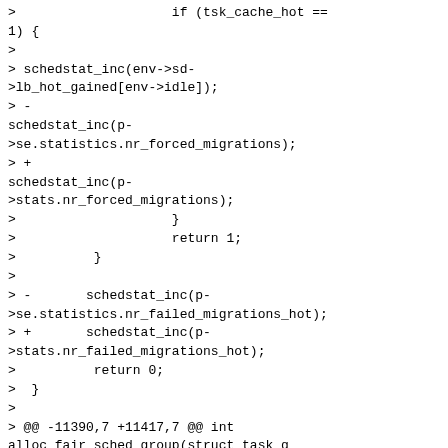>                    if (tsk_cache_hot ==
1) {
>
> schedstat_inc(env->sd->lb_hot_gained[env->idle]);
> -
schedstat_inc(p->se.statistics.nr_forced_migrations);
> +
schedstat_inc(p->stats.nr_forced_migrations);
>                    }
>                    return 1;
>          }
>
> -       schedstat_inc(p->se.statistics.nr_failed_migrations_hot);
> +       schedstat_inc(p->stats.nr_failed_migrations_hot);
>          return 0;
>  }
>
> @@ -11390,7 +11417,7 @@ int alloc_fair_sched_group(struct task_g
>                    if (!cfs_rq)
>                          goto err;
>
> -         se =
kzalloc_node(sizeof(struct
sched_entity),